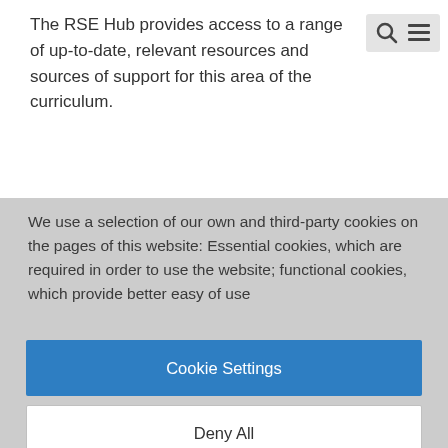The RSE Hub provides access to a range of up-to-date, relevant resources and sources of support for this area of the curriculum.
We use a selection of our own and third-party cookies on the pages of this website: Essential cookies, which are required in order to use the website; functional cookies, which provide better easy of use
Cookie Settings
Deny All
Accept All